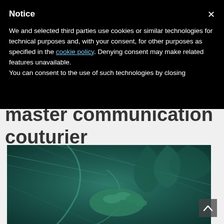Jack of all trades, master communication couturier
[Figure (photo): Close-up photo of green/teal fabric being held by a hand, showing textile texture and folds]
Notice
We and selected third parties use cookies or similar technologies for technical purposes and, with your consent, for other purposes as specified in the cookie policy. Denying consent may make related features unavailable.
You can consent to the use of such technologies by closing